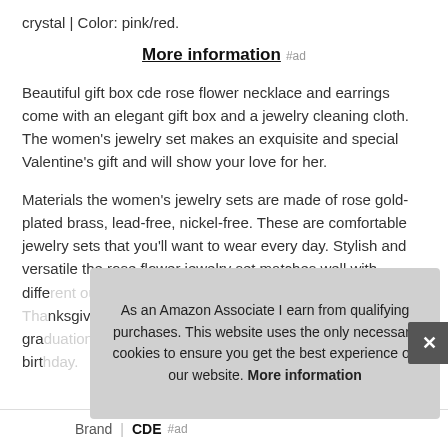crystal | Color: pink/red.
More information #ad
Beautiful gift box cde rose flower necklace and earrings come with an elegant gift box and a jewelry cleaning cloth. The women's jewelry set makes an exquisite and special Valentine's gift and will show your love for her.
Materials the women's jewelry sets are made of rose gold-plated brass, lead-free, nickel-free. These are comfortable jewelry sets that you'll want to wear every day. Stylish and versatile the rose flower jewelry set matches well with different outfits for Mother's Day, wedding, and Thanksgiving, graduation, anniversary, Christmas, holiday party, and birthday.
As an Amazon Associate I earn from qualifying purchases. This website uses the only necessary cookies to ensure you get the best experience on our website. More information
| Brand | Value |
| --- | --- |
| Brand | CDE #ad |